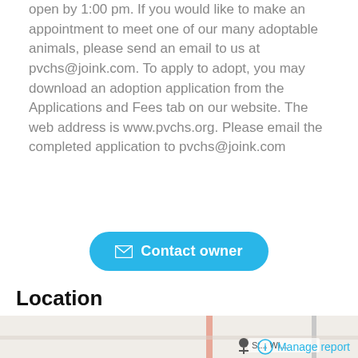open by 1:00 pm. If you would like to make an appointment to meet one of our many adoptable animals, please send an email to us at pvchs@joink.com. To apply to adopt, you may download an adoption application from the Applications and Fees tab on our website. The web address is www.pvchs.org. Please email the completed application to pvchs@joink.com&nbsp; &nbsp;
Contact owner
Location
[Figure (map): Street map showing location]
Manage report